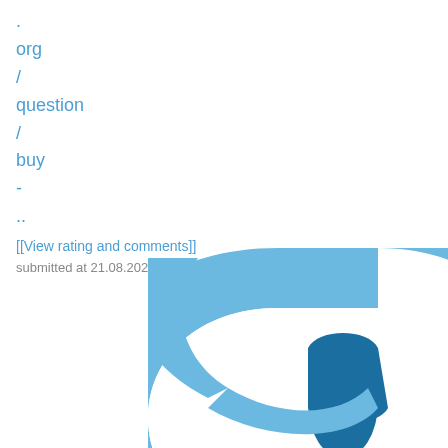.
org
/
question
/
buy
-
..
[[View rating and comments]]
submitted at 21.08.2022
[Figure (logo): Partial view of a blue chain-link or interlocking rings logo in light and dark blue colors, cropped at the bottom-right of the page.]